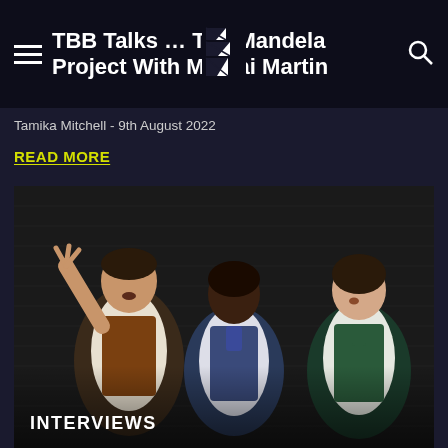TBB Talks … The Mandela Project With Marsai Martin
Tamika Mitchell  -  9th August 2022
READ MORE
[Figure (photo): Three women on stage in period costume against a dark brick wall backdrop. Left woman in brown vest with hand raised, centre woman in blue vest, right woman in green vest. INTERVIEWS label overlaid at bottom left.]
INTERVIEWS